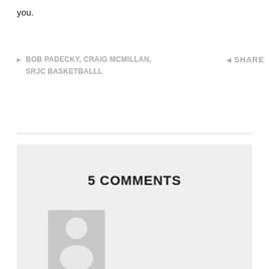you.
BOB PADECKY, CRAIG MCMILLAN, SRJC BASKETBALLL
SHARE
5 COMMENTS
[Figure (illustration): Gray placeholder avatar icon showing a silhouette of a person]
Davecox  MARCH 28, 2014